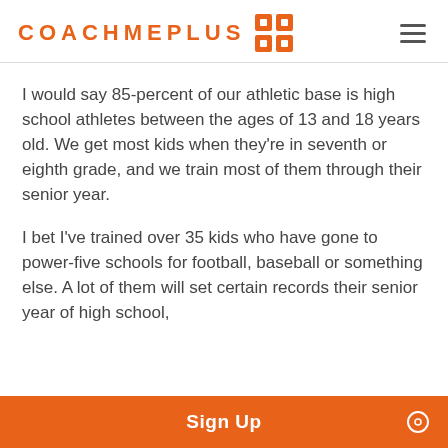COACHMEPLUS
I would say 85-percent of our athletic base is high school athletes between the ages of 13 and 18 years old. We get most kids when they're in seventh or eighth grade, and we train most of them through their senior year.
I bet I've trained over 35 kids who have gone to power-five schools for football, baseball or something else. A lot of them will set certain records their senior year of high school,
Sign Up